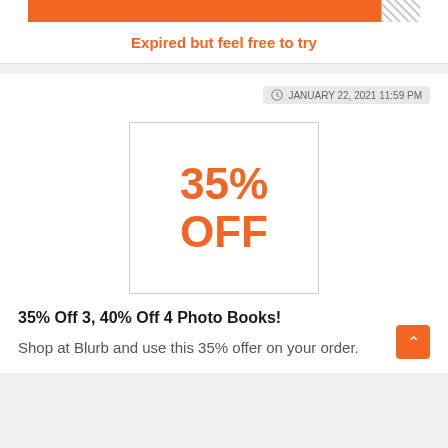[Figure (other): Orange progress/coupon bar with hatched white box on the right end]
Expired but feel free to try
JANUARY 22, 2021 11:59 PM
[Figure (infographic): White bordered box with large orange text reading 35% OFF]
35% Off 3, 40% Off 4 Photo Books!
Shop at Blurb and use this 35% offer on your order.